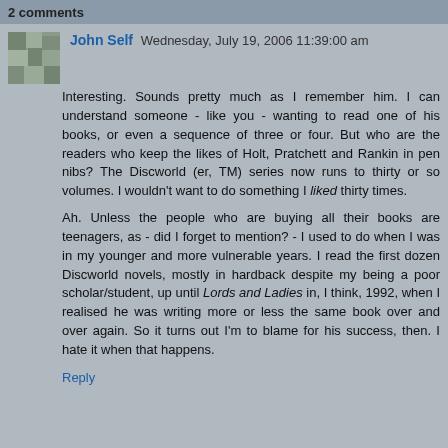2 comments
John Self  Wednesday, July 19, 2006 11:39:00 am
Interesting. Sounds pretty much as I remember him. I can understand someone - like you - wanting to read one of his books, or even a sequence of three or four. But who are the readers who keep the likes of Holt, Pratchett and Rankin in pen nibs? The Discworld (er, TM) series now runs to thirty or so volumes. I wouldn't want to do something I liked thirty times.
Ah. Unless the people who are buying all their books are teenagers, as - did I forget to mention? - I used to do when I was in my younger and more vulnerable years. I read the first dozen Discworld novels, mostly in hardback despite my being a poor scholar/student, up until Lords and Ladies in, I think, 1992, when I realised he was writing more or less the same book over and over again. So it turns out I'm to blame for his success, then. I hate it when that happens.
Reply